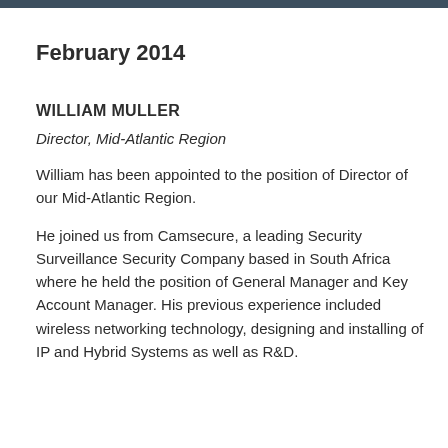February 2014
WILLIAM MULLER
Director, Mid-Atlantic Region
William has been appointed to the position of Director of our Mid-Atlantic Region.
He joined us from Camsecure, a leading Security Surveillance Security Company based in South Africa where he held the position of General Manager and Key Account Manager. His previous experience included wireless networking technology, designing and installing of IP and Hybrid Systems as well as R&D.